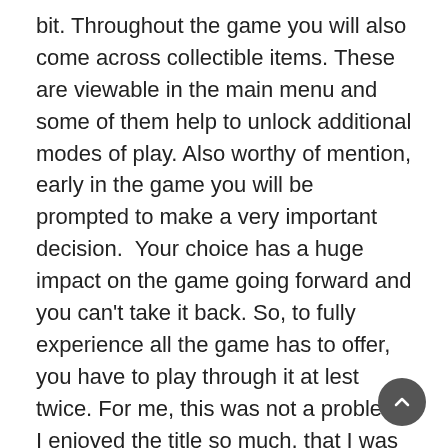bit. Throughout the game you will also come across collectible items. These are viewable in the main menu and some of them help to unlock additional modes of play. Also worthy of mention, early in the game you will be prompted to make a very important decision. Your choice has a huge impact on the game going forward and you can't take it back. So, to fully experience all the game has to offer, you have to play through it at lest twice. For me, this was not a problem. I enjoyed the title so much, that I was happy to do just that.
In a somewhat unusual move for a modern FPS, there is no multiplayer option. Wolfenstein: The New Order is strictly a single-player title. For me that is fine, but does seem a little difficult to justify the premium p...